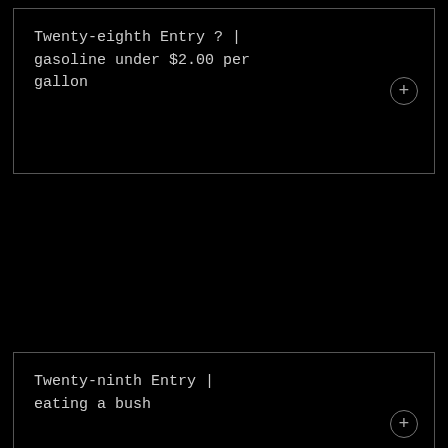Twenty-eighth Entry ? | gasoline under $2.00 per gallon
Twenty-ninth Entry | eating a bush
Thirtieth Entry | losing a simple human gesture
Thirty-first Entry | a familiar strangeness
Thirty-second Entry |